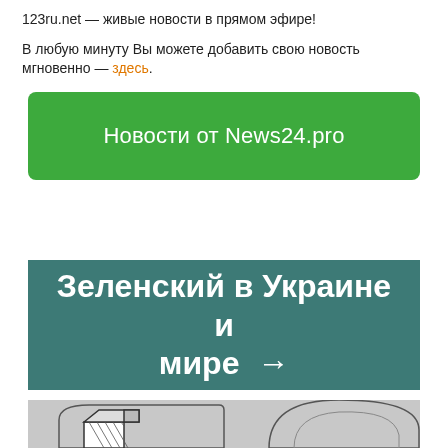123ru.net — живые новости в прямом эфире!
В любую минуту Вы можете добавить свою новость мгновенно — здесь.
[Figure (other): Green banner with text 'Новости от News24.pro']
[Figure (other): Teal/dark green banner with bold white text 'Зеленский в Украине и мире →']
[Figure (illustration): Gray background illustration showing a sofa/couch outline drawing in black and white line art]